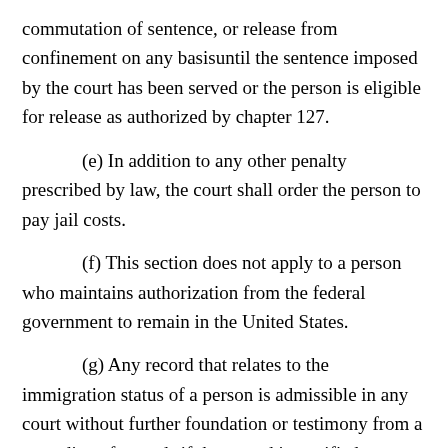commutation of sentence, or release from confinement on any basisuntil the sentence imposed by the court has been served or the person is eligible for release as authorized by chapter 127.
(e) In addition to any other penalty prescribed by law, the court shall order the person to pay jail costs.
(f) This section does not apply to a person who maintains authorization from the federal government to remain in the United States.
(g) Any record that relates to the immigration status of a person is admissible in any court without further foundation or testimony from a custodian of records if the record is certified as authentic by the government agency that is responsible for maintaining the record.